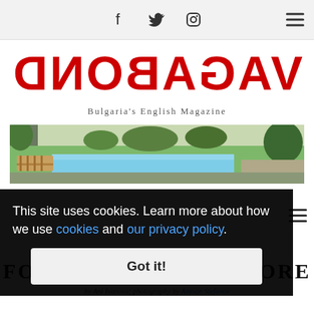Social media icons (Facebook, Twitter, Instagram) and hamburger menu
[Figure (logo): VAGABOND logo in red bold uppercase text, mirrored/reversed B]
Bulgaria's English Magazine
[Figure (photo): Outdoor pool area with green lawn, wooden sideboard, and trees in the background — architectural/real estate photography]
This site uses cookies. Learn more about how we use cookies and our privacy policy.
Got it!
FOR A FEW BOOKS MORE
by Ani Ivanova; photography by Antoan Stefanov